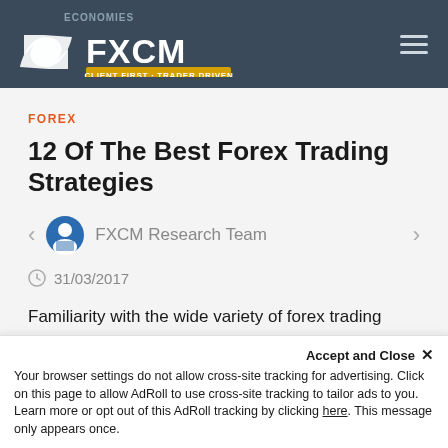ECONOMIES | FXCM CLIENT FIRST · TRADER DRIVEN
FOREX
12 Of The Best Forex Trading Strategies
FXCM Research Team
31/03/2017
Familiarity with the wide variety of forex trading strategies may help traders adapt and improve
Accept and Close ✕
Your browser settings do not allow cross-site tracking for advertising. Click on this page to allow AdRoll to use cross-site tracking to tailor ads to you. Learn more or opt out of this AdRoll tracking by clicking here. This message only appears once.